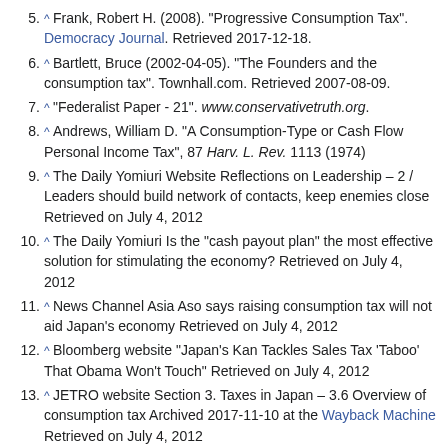5. ^ Frank, Robert H. (2008). "Progressive Consumption Tax". Democracy Journal. Retrieved 2017-12-18.
6. ^ Bartlett, Bruce (2002-04-05). "The Founders and the consumption tax". Townhall.com. Retrieved 2007-08-09.
7. ^ "Federalist Paper - 21". www.conservativetruth.org.
8. ^ Andrews, William D. "A Consumption-Type or Cash Flow Personal Income Tax", 87 Harv. L. Rev. 1113 (1974)
9. ^ The Daily Yomiuri Website Reflections on Leadership – 2 / Leaders should build network of contacts, keep enemies close Retrieved on July 4, 2012
10. ^ The Daily Yomiuri Is the "cash payout plan" the most effective solution for stimulating the economy? Retrieved on July 4, 2012
11. ^ News Channel Asia Aso says raising consumption tax will not aid Japan's economy Retrieved on July 4, 2012
12. ^ Bloomberg website "Japan's Kan Tackles Sales Tax 'Taboo' That Obama Won't Touch" Retrieved on July 4, 2012
13. ^ JETRO website Section 3. Taxes in Japan – 3.6 Overview of consumption tax Archived 2017-11-10 at the Wayback Machine Retrieved on July 4, 2012
14. ^ East Asia Forum Japan's aging population and...